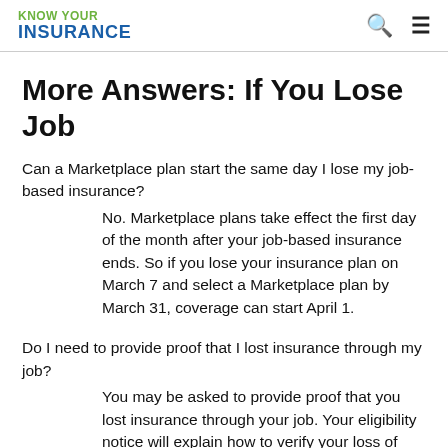KNOW YOUR INSURANCE
More Answers: If You Lose Job
Can a Marketplace plan start the same day I lose my job-based insurance?
No. Marketplace plans take effect the first day of the month after your job-based insurance ends. So if you lose your insurance plan on March 7 and select a Marketplace plan by March 31, coverage can start April 1.
Do I need to provide proof that I lost insurance through my job?
You may be asked to provide proof that you lost insurance through your job. Your eligibility notice will explain how to verify your loss of coverage. The